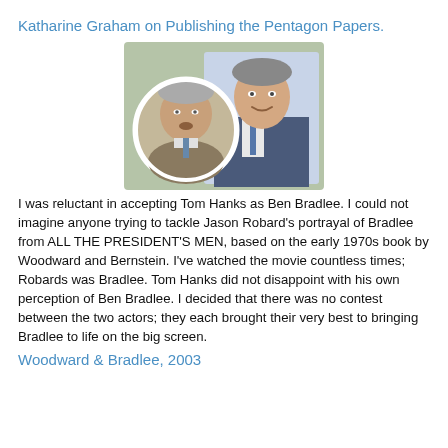Katharine Graham on Publishing the Pentagon Papers.
[Figure (photo): Two men photographed together: a circular inset photo of an older heavyset man on the left, and a main photo of a man in a suit and tie on the right, smiling.]
I was reluctant in accepting Tom Hanks as Ben Bradlee.  I could not imagine anyone trying to tackle Jason Robard's portrayal of Bradlee from ALL THE PRESIDENT'S MEN, based on the early 1970s book by Woodward and Bernstein.  I've watched the movie countless times; Robards was Bradlee.  Tom Hanks did not disappoint with his own perception of Ben Bradlee. I decided that there was no contest between the two actors; they each brought their very best to bringing Bradlee to life on the big screen.
Woodward & Bradlee, 2003